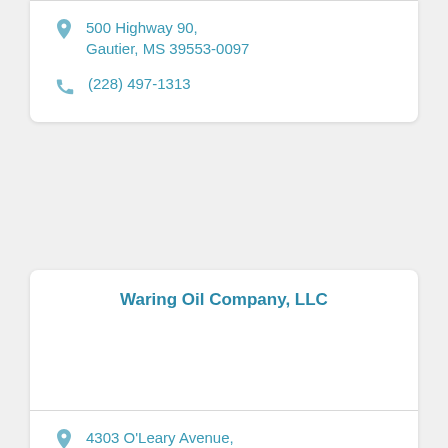500 Highway 90, Gautier, MS 39553-0097
(228) 497-1313
Waring Oil Company, LLC
4303 O'Leary Avenue,